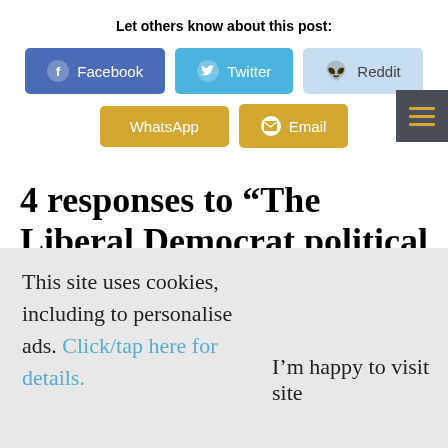Let others know about this post:
[Figure (infographic): Social share buttons: Facebook (blue), Twitter (blue), Reddit (light blue), WhatsApp (yellow), Email (yellow), and a hamburger menu button (dark grey with yellow lines)]
4 responses to “The Liberal Democrat political plan for the next year”
This site uses cookies, including to personalise ads. Click/tap here for details.
I'm happy to visit site